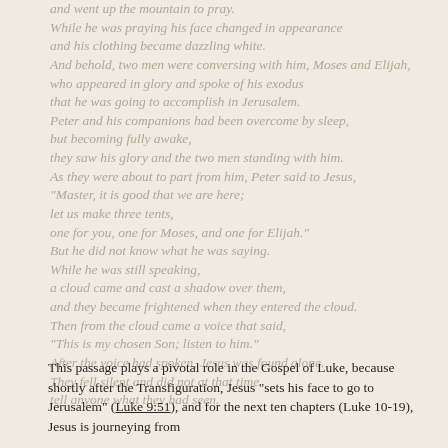and went up the mountain to pray. While he was praying his face changed in appearance and his clothing became dazzling white. And behold, two men were conversing with him, Moses and Elijah, who appeared in glory and spoke of his exodus that he was going to accomplish in Jerusalem. Peter and his companions had been overcome by sleep, but becoming fully awake, they saw his glory and the two men standing with him. As they were about to part from him, Peter said to Jesus, "Master, it is good that we are here; let us make three tents, one for you, one for Moses, and one for Elijah." But he did not know what he was saying. While he was still speaking, a cloud came and cast a shadow over them, and they became frightened when they entered the cloud. Then from the cloud came a voice that said, "This is my chosen Son; listen to him." After the voice had spoken, Jesus was found alone. They fell silent and did not at that time tell anyone what they had seen.
This passage plays a pivotal role in the Gospel of Luke, because shortly after the Transfiguration, Jesus "sets his face to go to Jerusalem" (Luke 9:51), and for the next ten chapters (Luke 10-19), Jesus is journeying from